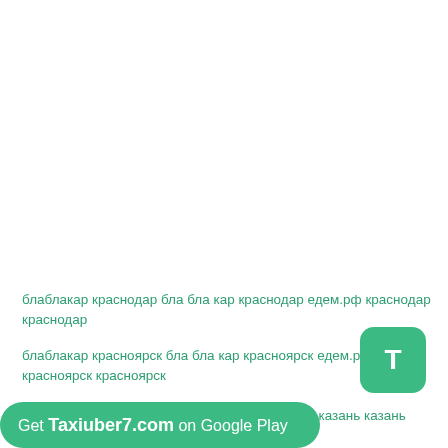блаблакар краснодар бла бла кар краснодар едем.рф краснодар краснодар
блаблакар красноярск бла бла кар красноярск едем.рф красноярск красноярск
блаблакар казань бла бла кар казань едем.рф казань казань
[Figure (other): Green rounded rectangle button with letter T, representing app icon]
Get Taxiuber7.com on Google Play